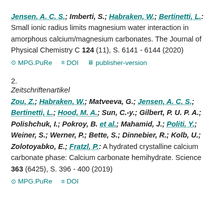Jensen, A. C. S.; Imberti, S.; Habraken, W.; Bertinetti, L.: Small ionic radius limits magnesium water interaction in amorphous calcium/magnesium carbonates. The Journal of Physical Chemistry C 124 (11), S. 6141 - 6144 (2020)
MPG.PuRe  DOI  publisher-version
2.
Zeitschriftenartikel
Zou, Z.; Habraken, W.; Matveeva, G.; Jensen, A. C. S.; Bertinetti, L.; Hood, M. A.; Sun, C.-y.; Gilbert, P. U. P. A.; Polishchuk, I.; Pokroy, B. et al.; Mahamid, J.; Politi, Y.; Weiner, S.; Werner, P.; Bette, S.; Dinnebier, R.; Kolb, U.; Zolotoyabko, E.; Fratzl, P.: A hydrated crystalline calcium carbonate phase: Calcium carbonate hemihydrate. Science 363 (6425), S. 396 - 400 (2019)
MPG.PuRe  DOI